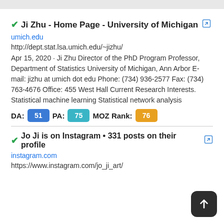Ji Zhu - Home Page - University of Michigan
umich.edu
http://dept.stat.lsa.umich.edu/~jizhu/
Apr 15, 2020 · Ji Zhu Director of the PhD Program Professor, Department of Statistics University of Michigan, Ann Arbor E-mail: jizhu at umich dot edu Phone: (734) 936-2577 Fax: (734) 763-4676 Office: 455 West Hall Current Research Interests. Statistical machine learning Statistical network analysis
DA: 51 PA: 75 MOZ Rank: 76
Jo Ji is on Instagram • 331 posts on their profile
instagram.com
https://www.instagram.com/jo_ji_art/